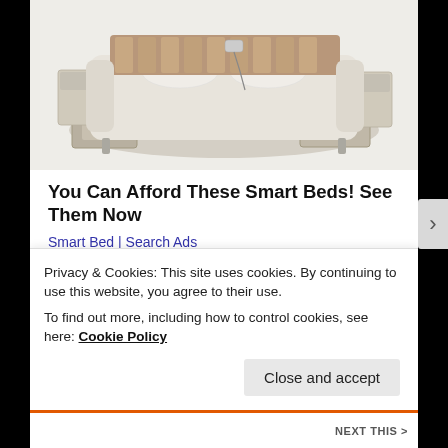[Figure (photo): Smart bed with integrated storage drawers, side tables, and cushioned headboard in beige/cream color, shown from an elevated angle]
You Can Afford These Smart Beds! See Them Now
Smart Bed | Search Ads
SHARE THIS:
Privacy & Cookies: This site uses cookies. By continuing to use this website, you agree to their use.
To find out more, including how to control cookies, see here: Cookie Policy
Close and accept